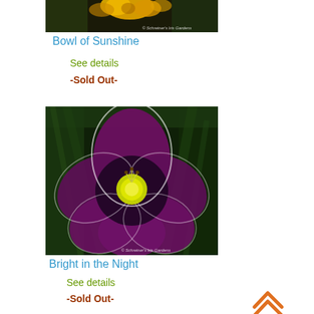[Figure (photo): Partial photo of Bowl of Sunshine iris/daylily flower with yellow blooms on dark background, copyright Schreiner's Iris Gardens]
Bowl of Sunshine
See details
-Sold Out-
[Figure (photo): Photo of Bright in the Night daylily flower with deep purple/magenta petals, dark eye zone, yellow-green throat, white picotee edges, against green foliage background, copyright Schreiner's Iris Gardens]
Bright in the Night
See details
-Sold Out-